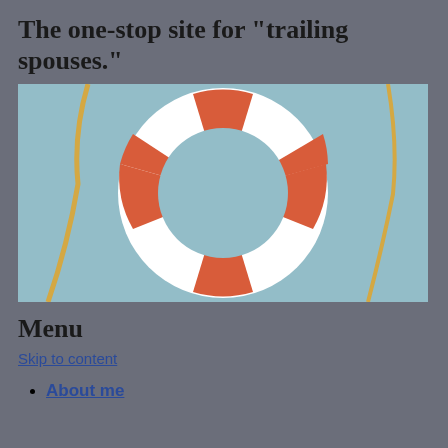The one-stop site for "trailing spouses."
[Figure (illustration): A life preserver ring (lifebuoy) illustration with orange/red and white sections on a light blue background, with a yellow rope visible at the edges.]
Menu
Skip to content
About me